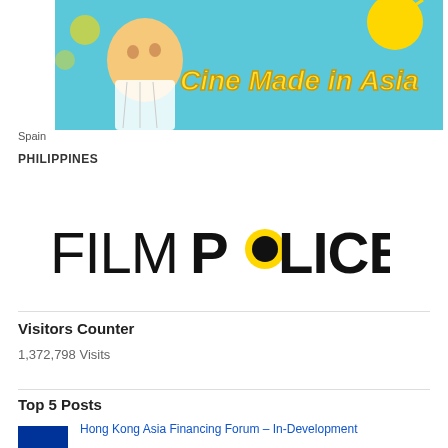[Figure (illustration): Colourful illustrated banner for 'Cine Made in Asia' showing a person surrounded by Asian-themed artwork with yellow text on a blue background]
Spain
PHILIPPINES
[Figure (logo): FILM POLICE logo — thin-weight sans-serif for FILM, bold black for POLICE with a yellow circle replacing the O]
Visitors Counter
1,372,798 Visits
Top 5 Posts
Hong Kong Asia Financing Forum – In-Development